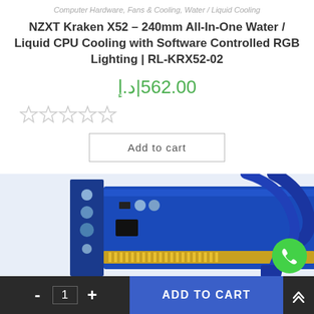Computer Hardware, Fans & Cooling, Water / Liquid Cooling
NZXT Kraken X52 – 240mm All-In-One Water / Liquid CPU Cooling with Software Controlled RGB Lighting | RL-KRX52-02
562.00|د.إ
[Figure (other): Five star rating widget showing empty/outline stars (no filled stars)]
Add to cart
[Figure (photo): Photo of a blue PCIe riser card with capacitors, chip, and blue USB cable]
- 1 +  ADD TO CART